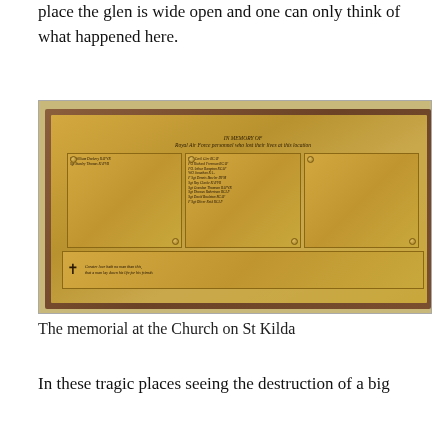place the glen is wide open and one can only think of what happened here.
[Figure (photo): A memorial plaque mounted on a wooden board at a church on St Kilda. The brass plaque reads 'IN MEMORY OF Royal Air Force personnel who lost their lives at this location' with multiple sub-panels listing names. A cross symbol appears on the lower portion.]
The memorial at the Church on St Kilda
In these tragic places seeing the destruction of a big